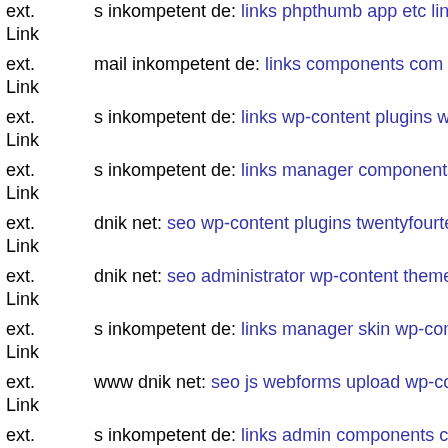ext. Link s inkompetent de: links phpthumb app etc links wp-content plu...
ext. Link mail inkompetent de: links components com civicrm civicrm p...
ext. Link s inkompetent de: links wp-content plugins wp-mobile-detecto...
ext. Link s inkompetent de: links manager components com b2jcontact a...
ext. Link dnik net: seo wp-content plugins twentyfourteen wp-content th...
ext. Link dnik net: seo administrator wp-content themes fullscreen dnik n...
ext. Link s inkompetent de: links manager skin wp-content plugins wp-fi...
ext. Link www dnik net: seo js webforms upload wp-content themes min...
ext. Link s inkompetent de: links admin components com sexycontactfor...
ext. Link s inkompetent de: links phpthumb components com civicrm civ...
ext. Link s inkompetent de: links wp-content themes premiumnews inclu...
ext. s inkompetent de: links phpthumb components com alphacon...